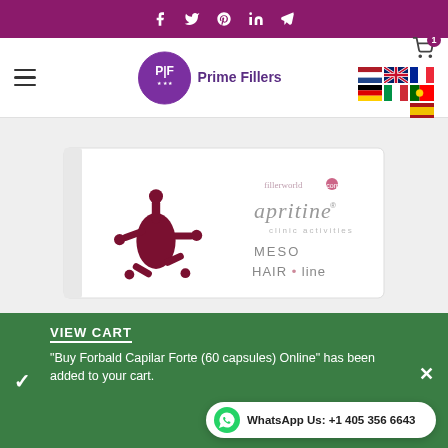Social media icons: Facebook, Twitter, Pinterest, LinkedIn, Telegram
[Figure (logo): Prime Fillers logo with circular emblem and text. Navigation bar with hamburger menu, cart icon with badge '1', and language flag icons (Netherlands, UK, France, Germany, Italy, Portugal, Spain).]
[Figure (photo): Product box of Apritine MESO HAIR line with dark red splatter logo on white packaging. Brand watermark 'fillerworld.com' visible.]
VIEW CART
"Buy Forbald Capilar Forte (60 capsules) Online" has been added to your cart.
WhatsApp Us: +1 405 356 6643